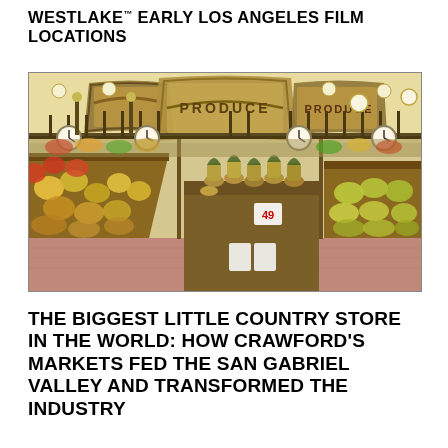WESTLAKE™ EARLY LOS ANGELES FILM LOCATIONS
[Figure (photo): Interior of a produce market/grocery store with ornate iron archways reading 'PRODUCE', rows of fresh fruits and vegetables displayed on slanted wooden bins, globe pendant lights, large wall clocks, and a patterned tile floor.]
THE BIGGEST LITTLE COUNTRY STORE IN THE WORLD: HOW CRAWFORD'S MARKETS FED THE SAN GABRIEL VALLEY AND TRANSFORMED THE INDUSTRY